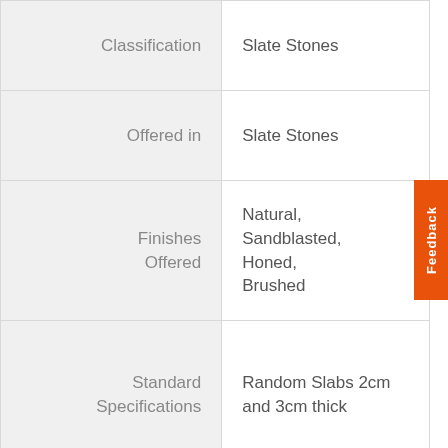|  |  |
| --- | --- |
| Classification | Slate Stones |
| Offered in | Slate Stones |
| Finishes Offered | Natural, Sandblasted, Honed, Brushed |
| Standard Specifications | Random Slabs 2cm and 3cm thick |
|  | Cut to size tiles 20mm and 30mm... |